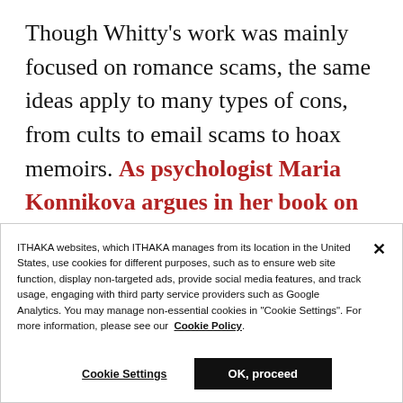Though Whitty's work was mainly focused on romance scams, the same ideas apply to many types of cons, from cults to email scams to hoax memoirs. As psychologist Maria Konnikova argues in her book on con artists [ref], "nearly anyone can be a good mark under the right circumstances," and con artists are pros at
ITHAKA websites, which ITHAKA manages from its location in the United States, use cookies for different purposes, such as to ensure web site function, display non-targeted ads, provide social media features, and track usage, engaging with third party service providers such as Google Analytics. You may manage non-essential cookies in "Cookie Settings". For more information, please see our Cookie Policy.